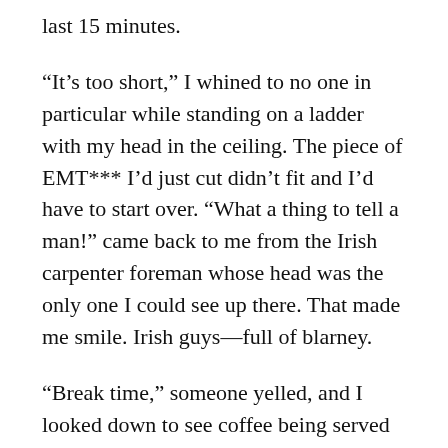last 15 minutes.
“It’s too short,” I whined to no one in particular while standing on a ladder with my head in the ceiling. The piece of EMT*** I’d just cut didn’t fit and I’d have to start over. “What a thing to tell a man!” came back to me from the Irish carpenter foreman whose head was the only one I could see up there. That made me smile. Irish guys—full of blarney.
“Break time,” someone yelled, and I looked down to see coffee being served in a fancy silver service with a huge plate of pastries beside it. The gift had come from the pastry chef, and for the rest of that job we had